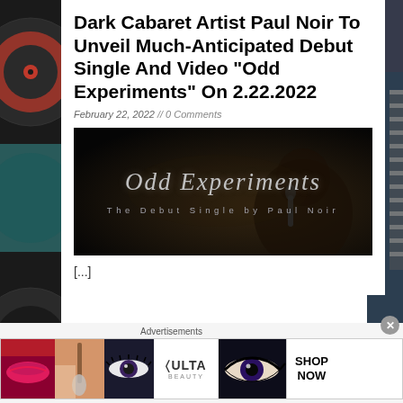Dark Cabaret Artist Paul Noir To Unveil Much-Anticipated Debut Single And Video "Odd Experiments" On 2.22.2022
February 22, 2022 // 0 Comments
[Figure (photo): Promotional image for 'Odd Experiments' - dark background with stylized gothic text reading 'Odd Experiments' and subtitle 'The Debut Single by Paul Noir', with a shadowy figure in the background]
[...]
Advertisements
[Figure (photo): ULTA Beauty advertisement banner showing makeup imagery including lips, brush, eye, ULTA logo, eye closeup, and SHOP NOW text]